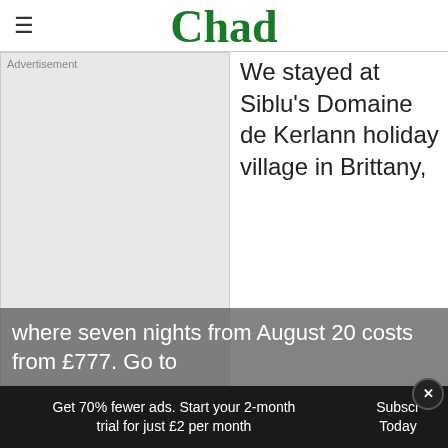Chad
[Figure (other): Advertisement placeholder box with grey background and 'Advertisement' label]
We stayed at Siblu's Domaine de Kerlann holiday village in Brittany, where seven nights from August 20 costs from £777. Go to
Get 70% fewer ads. Start your 2-month trial for just £2 per month
Subscribe Today